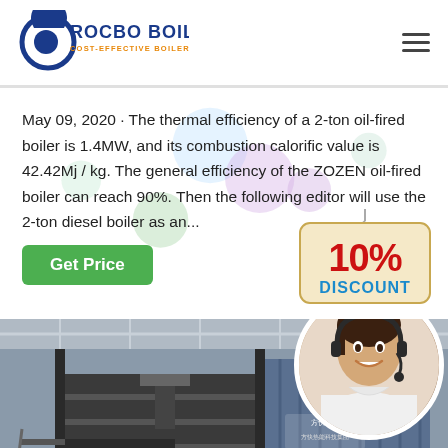ROCBO BOILER - COST-EFFECTIVE BOILER SUPPLIER
May 09, 2020 · The thermal efficiency of a 2-ton oil-fired boiler is 1.4MW, and its combustion calorific value is 42.42Mj / kg. The general efficiency of the ZOZEN oil-fired boiler can reach 90%. Then the following editor will use the 2-ton diesel boiler as an...
[Figure (infographic): 10% DISCOUNT promotional badge with hanging string decoration]
[Figure (photo): Industrial oil-fired boiler in a factory setting, with a customer service representative in a circular overlay on the right side]